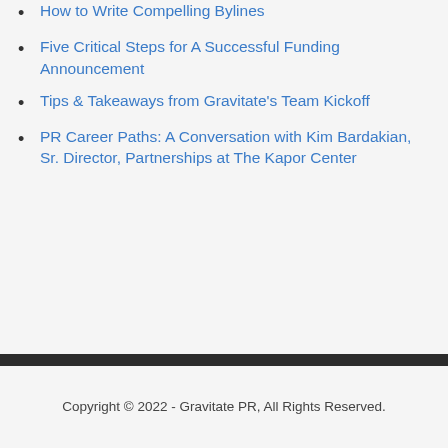How to Write Compelling Bylines
Five Critical Steps for A Successful Funding Announcement
Tips & Takeaways from Gravitate's Team Kickoff
PR Career Paths: A Conversation with Kim Bardakian, Sr. Director, Partnerships at The Kapor Center
Copyright © 2022 - Gravitate PR, All Rights Reserved.